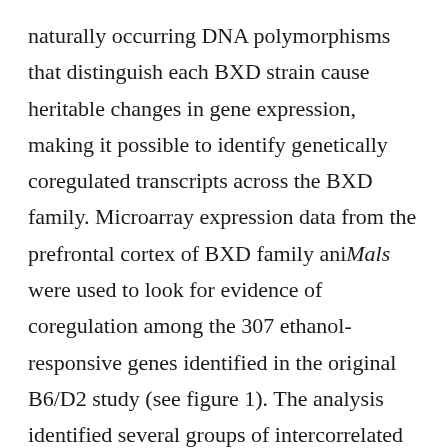naturally occurring DNA polymorphisms that distinguish each BXD strain cause heritable changes in gene expression, making it possible to identify genetically coregulated transcripts across the BXD family. Microarray expression data from the prefrontal cortex of BXD family aniMals were used to look for evidence of coregulation among the 307 ethanol-responsive genes identified in the original B6/D2 study (see figure 1). The analysis identified several groups of intercorrelated gene modules, indicating this gene set is comprised of several gene networks (figure 1).